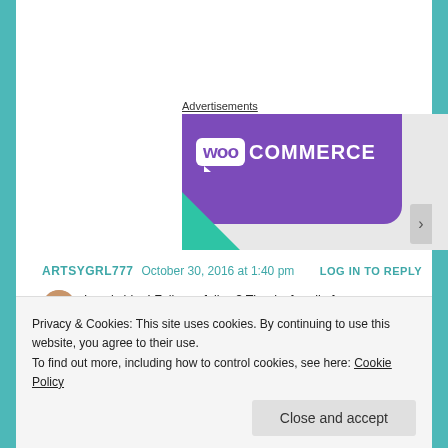Advertisements
[Figure (logo): WooCommerce advertisement banner with purple background, white WooCommerce logo with speech bubble style 'Woo' text, and a green triangle accent in the bottom-left corner.]
ARTSYGRL777   October 30, 2016 at 1:40 pm   LOG IN TO REPLY
Lovely blog! Follow x follow? Thanks for all of
Privacy & Cookies: This site uses cookies. By continuing to use this website, you agree to their use.
To find out more, including how to control cookies, see here: Cookie Policy
Close and accept